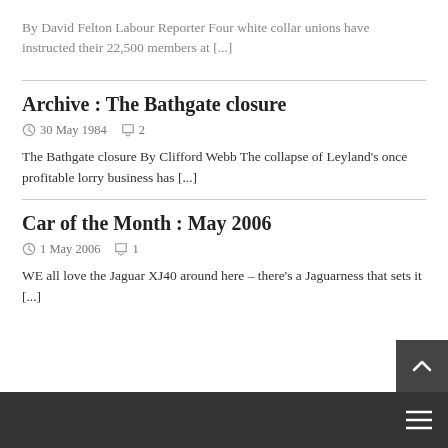By David Felton Labour Reporter Four white collar unions have instructed their 22,500 members at [...]
Archive : The Bathgate closure
30 May 1984   2
The Bathgate closure By Clifford Webb The collapse of Leyland's once profitable lorry business has [...]
Car of the Month : May 2006
1 May 2006   1
WE all love the Jaguar XJ40 around here – there's a Jaguarness that sets it [...]